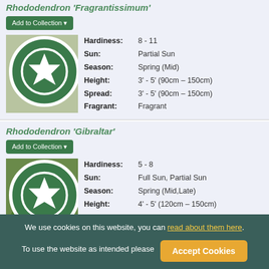Rhododendron 'Fragrantissimum'
Add to Collection
[Figure (photo): Close-up photo of white Rhododendron 'Fragrantissimum' flowers with green leaves, award badge overlay]
| Property | Value |
| --- | --- |
| Hardiness: | 8 - 11 |
| Sun: | Partial Sun |
| Season: | Spring (Mid) |
| Height: | 3' - 5' (90cm – 150cm) |
| Spread: | 3' - 5' (90cm – 150cm) |
| Fragrant: | Fragrant |
Rhododendron 'Gibraltar'
Add to Collection
[Figure (photo): Close-up photo of orange-red Rhododendron 'Gibraltar' flowers, award badge overlay]
| Property | Value |
| --- | --- |
| Hardiness: | 5 - 8 |
| Sun: | Full Sun, Partial Sun |
| Season: | Spring (Mid,Late) |
| Height: | 4' - 5' (120cm – 150cm) |
| Spread: | 4' - 5' (120cm – 150cm) |
| Fragrant: | Fragrant |
We use cookies on this website, you can read about them here. To use the website as intended please Accept Cookies.